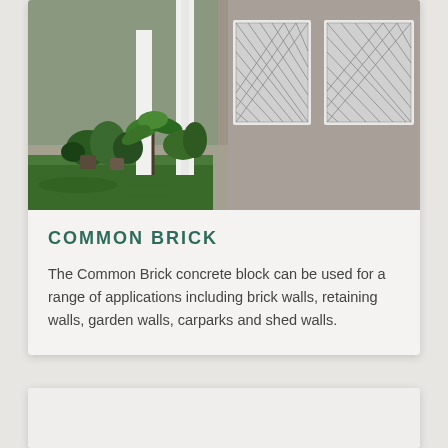[Figure (photo): Photo of a residential house exterior showing grey/taupe rendered brick walls with white window frames featuring diamond-pattern security screens, lawn in foreground, potted plants and garden near entrance]
COMMON BRICK
The Common Brick concrete block can be used for a range of applications including brick walls, retaining walls, garden walls, carparks and shed walls.
[Figure (photo): Partial view of a second product card, image area only visible at bottom of page]